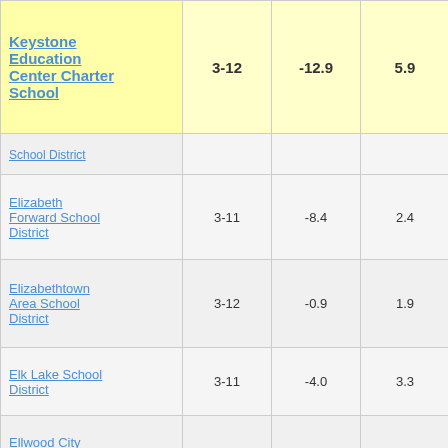| School/District | Grades | Col3 | Col4 | Score | ... |
| --- | --- | --- | --- | --- | --- |
| Keystone Education Center Charter School | 3-12 | -12.9 | 5.9 | -2.19 | ... |
| School District (partial) |  |  |  |  |  |
| Elizabeth Forward School District | 3-11 | -8.4 | 2.4 | -3.41 |  |
| Elizabethtown Area School District | 3-12 | -0.9 | 1.9 | -0.47 |  |
| Elk Lake School District | 3-11 | -4.0 | 3.3 | -1.23 |  |
| Ellwood City Area School District | 3-11 | -4.2 | 3.2 | -1.29 |  |
| Ephrata Area School District | 3-11 | 5.6 | 1.8 | 3.12 |  |
| Erie City |  |  |  |  |  |